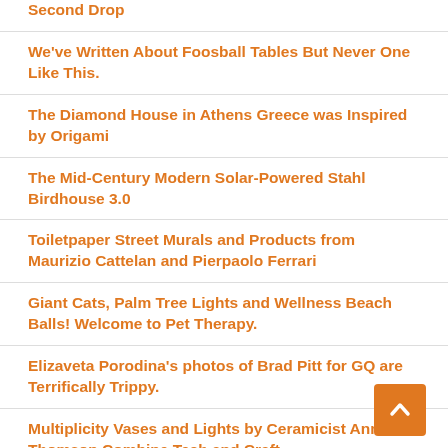Second Drop
We've Written About Foosball Tables But Never One Like This.
The Diamond House in Athens Greece was Inspired by Origami
The Mid-Century Modern Solar-Powered Stahl Birdhouse 3.0
Toiletpaper Street Murals and Products from Maurizio Cattelan and Pierpaolo Ferrari
Giant Cats, Palm Tree Lights and Wellness Beach Balls! Welcome to Pet Therapy.
Elizaveta Porodina's photos of Brad Pitt for GQ are Terrifically Trippy.
Multiplicity Vases and Lights by Ceramicist Anna Thomson Combine Tech and Craft.
Loewe Adorns New Shoes for Women with Wild Heels